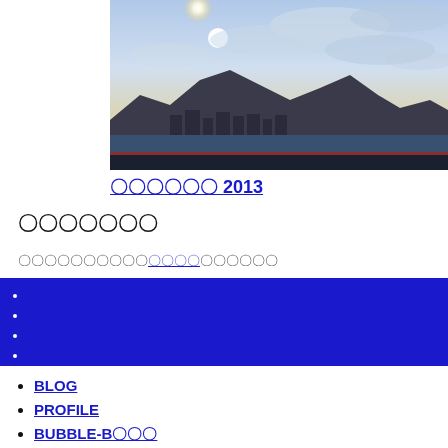[Figure (photo): Landscape photograph showing a city skyline with mountains in the background and a bright sun in a partly cloudy sky, taken near a body of water.]
〇〇〇〇〇〇 2013
〇〇〇〇〇〇〇
〇〇〇〇〇〇〇〇〇〇〇〇〇〇〇〇〇〇〇〇〇
BLOG
PROFILE
BUBBLE-B〇〇〇
BANDCAMP